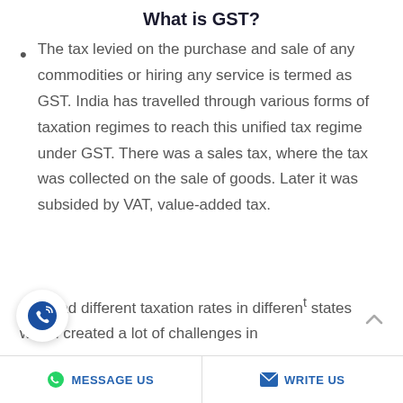What is GST?
The tax levied on the purchase and sale of any commodities or hiring any service is termed as GST. India has travelled through various forms of taxation regimes to reach this unified tax regime under GST. There was a sales tax, where the tax was collected on the sale of goods. Later it was subsided by VAT, value-added tax.
VAT had different taxation rates in different states which created a lot of challenges in
MESSAGE US   WRITE US